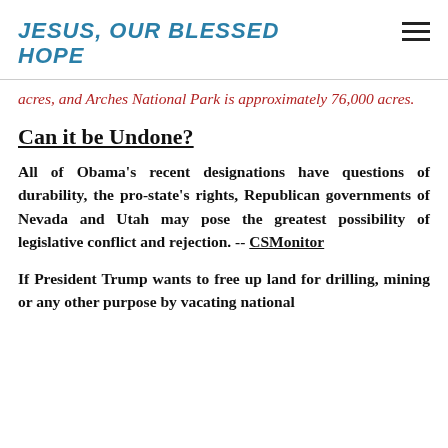JESUS, OUR BLESSED HOPE
acres, and Arches National Park is approximately 76,000 acres.
Can it be Undone?
All of Obama's recent designations have questions of durability, the pro-state's rights, Republican governments of Nevada and Utah may pose the greatest possibility of legislative conflict and rejection. -- CSMonitor
If President Trump wants to free up land for drilling, mining or any other purpose by vacating national